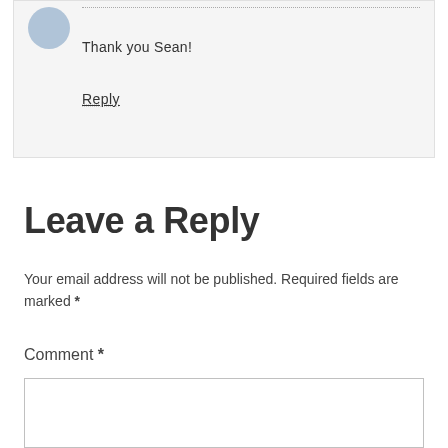Thank you Sean!
Reply
Leave a Reply
Your email address will not be published. Required fields are marked *
Comment *